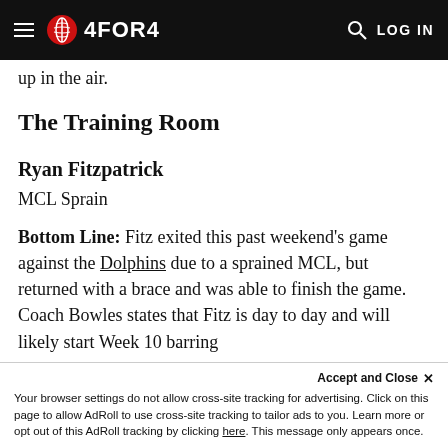4FOR4 LOG IN
up in the air.
The Training Room
Ryan Fitzpatrick
MCL Sprain
Bottom Line: Fitz exited this past weekend's game against the Dolphins due to a sprained MCL, but returned with a brace and was able to finish the game. Coach Bowles states that Fitz is day to day and will likely start Week 10 barring
Accept and Close ×
Your browser settings do not allow cross-site tracking for advertising. Click on this page to allow AdRoll to use cross-site tracking to tailor ads to you. Learn more or opt out of this AdRoll tracking by clicking here. This message only appears once.